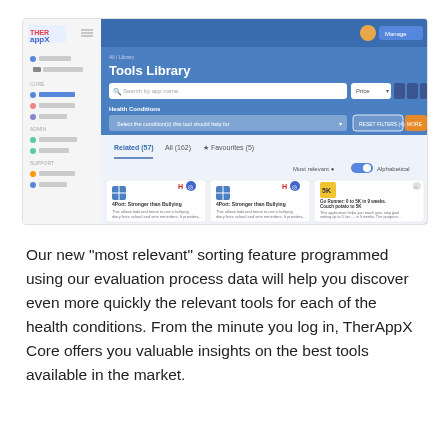[Figure (screenshot): Screenshot of TherAppX Tools Library interface showing a sidebar navigation with logo, search bar, filter controls, tabs (Related (57), All (162), Favourites (5)), sort toggle, and three app cards including '4Port: Stronger than Bullying' (shown twice) and 'Go Runner: 0 to 5K in 9 weeks. Couch potato to 5K']
Our new “most relevant” sorting feature programmed using our evaluation process data will help you discover even more quickly the relevant tools for each of the health conditions. From the minute you log in, TherAppX Core offers you valuable insights on the best tools available in the market.